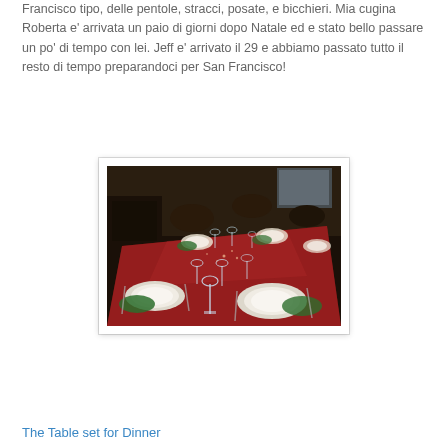Francisco tipo, delle pentole, stracci, posate, e bicchieri. Mia cugina Roberta e' arrivata un paio di giorni dopo Natale ed e stato bello passare un po' di tempo con lei. Jeff e' arrivato il 29 e abbiamo passato tutto il resto di tempo preparandoci per San Francisco!
[Figure (photo): A Christmas dinner table set with white plates, wine glasses, and a red tablecloth, photographed from above at an angle in a dark dining room.]
The Table set for Dinner